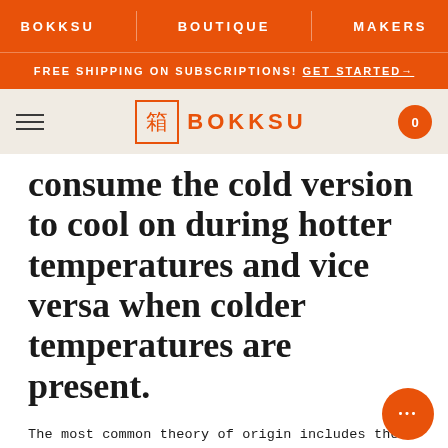BOKKSU   BOUTIQUE   MAKERS
FREE SHIPPING ON SUBSCRIPTIONS! GET STARTED→
BOKKSU logo bar
consume the cold version to cool on during hotter temperatures and vice versa when colder temperatures are present.
The most common theory of origin includes these noodles shifting from China to Japan in the 700s. Popularity for each noodle did not rise until the 1600s-1700s. Now, both noodles are available in many restaurants across Japan and Japanese-style restaurants around the world.
WHAT IS THE DIFFERENCE